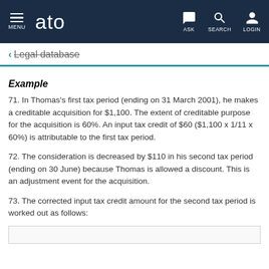MENU  ato  ASK  SEARCH  LOGIN
← Legal database
Example
71. In Thomas's first tax period (ending on 31 March 2001), he makes a creditable acquisition for $1,100. The extent of creditable purpose for the acquisition is 60%. An input tax credit of $60 ($1,100 x 1/11 x 60%) is attributable to the first tax period.
72. The consideration is decreased by $110 in his second tax period (ending on 30 June) because Thomas is allowed a discount. This is an adjustment event for the acquisition.
73. The corrected input tax credit amount for the second tax period is worked out as follows: